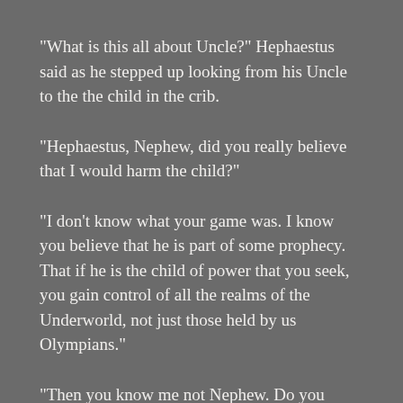“What is this all about Uncle?” Hephaestus said as he stepped up looking from his Uncle to the the child in the crib.
“Hephaestus, Nephew, did you really believe that I would harm the child?”
“I don’t know what your game was. I know you believe that he is part of some prophecy. That if he is the child of power that you seek, you gain control of all the realms of the Underworld, not just those held by us Olympians.”
“Then you know me not Nephew. Do you really think that Persephone would allow me to harm a child in anyway? I am also not stupid enough to